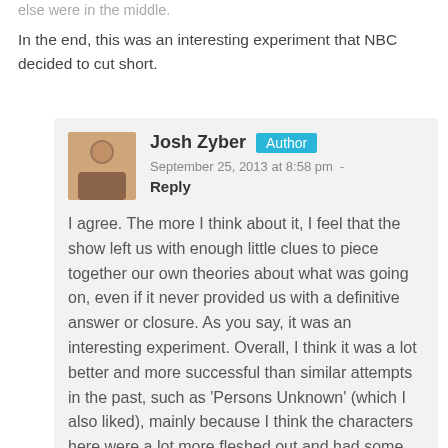else were in the middle.
In the end, this was an interesting experiment that NBC decided to cut short.
Josh Zyber Author September 25, 2013 at 8:58 pm - Reply I agree. The more I think about it, I feel that the show left us with enough little clues to piece together our own theories about what was going on, even if it never provided us with a definitive answer or closure. As you say, it was an interesting experiment. Overall, I think it was a lot better and more successful than similar attempts in the past, such as 'Persons Unknown' (which I also liked), mainly because I think the characters here were a lot more fleshed out and had some depth to